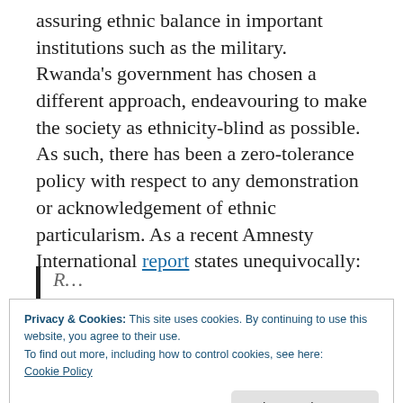assuring ethnic balance in important institutions such as the military. Rwanda's government has chosen a different approach, endeavouring to make the society as ethnicity-blind as possible. As such, there has been a zero-tolerance policy with respect to any demonstration or acknowledgement of ethnic particularism. As a recent Amnesty International report states unequivocally:
Privacy & Cookies: This site uses cookies. By continuing to use this website, you agree to their use.
To find out more, including how to control cookies, see here: Cookie Policy
unity and restrict speech that could